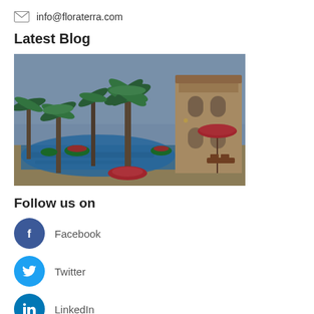info@floraterra.com
Latest Blog
[Figure (photo): Photo of a luxury resort with a swimming pool, palm trees with red flowers at the base, lounge chairs with red umbrellas, and a Mediterranean-style building in the background.]
Follow us on
Facebook
Twitter
LinkedIn